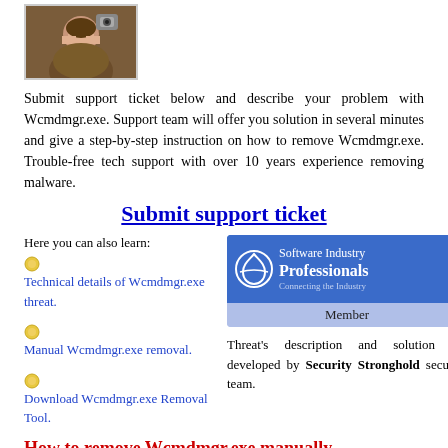[Figure (photo): Photo of a smiling woman holding a camera]
Submit support ticket below and describe your problem with Wcmdmgr.exe. Support team will offer you solution in several minutes and give a step-by-step instruction on how to remove Wcmdmgr.exe. Trouble-free tech support with over 10 years experience removing malware.
Submit support ticket
Here you can also learn:
Technical details of Wcmdmgr.exe threat.
[Figure (logo): Software Industry Professionals Member badge]
Manual Wcmdmgr.exe removal.
Threat's description and solution are developed by Security Stronghold security team.
Download Wcmdmgr.exe Removal Tool.
How to remove Wcmdmgr.exe manually
This problem can be solved manually by deleting all...